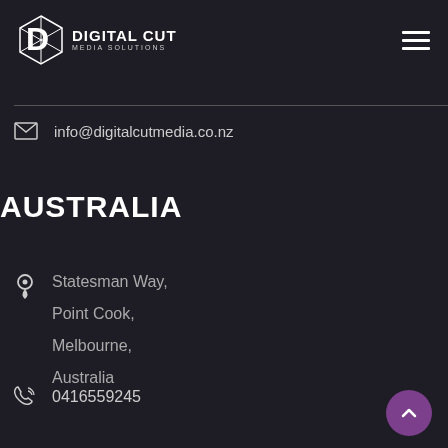Digital Cut Media Solutions
info@digitalcutmedia.co.nz
AUSTRALIA
Statesman Way, Point Cook, Melbourne, Australia
0416559245